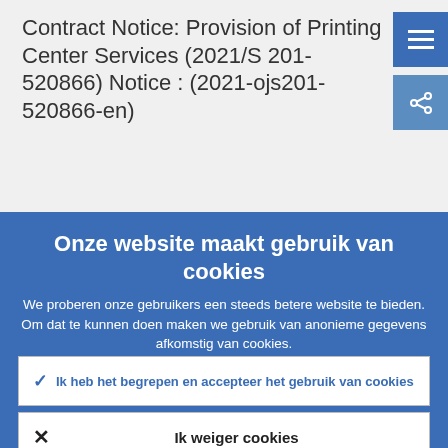Contract Notice: Provision of Printing Center Services (2021/S 201-520866) Notice : (2021-ojs201-520866-en)
Onze website maakt gebruik van cookies
We proberen onze gebruikers een steeds betere website te bieden. Om dat te kunnen doen maken we gebruik van anonieme gegevens afkomstig van cookies.
Nadere informatie over ons gebruik van cookies
Ik heb het begrepen en accepteer het gebruik van cookies
Ik weiger cookies